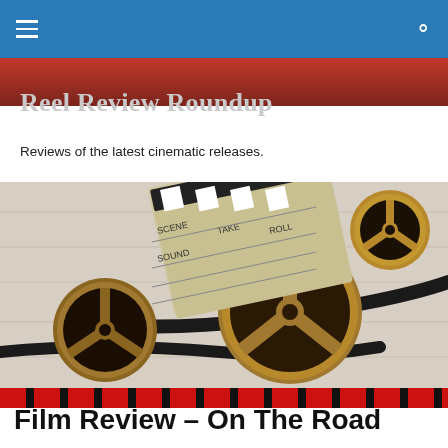Reel Review Roundup
Reviews of the latest cinematic releases.
[Figure (photo): Film reels and a clapperboard on a wooden surface, vintage golden tones]
Film Review – On The Road